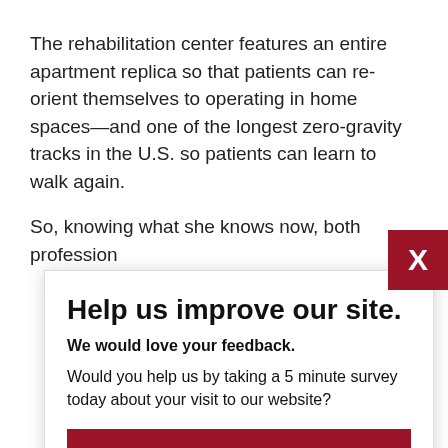The rehabilitation center features an entire apartment replica so that patients can re-orient themselves to operating in home spaces—and one of the longest zero-gravity tracks in the U.S. so patients can learn to walk again.
So, knowing what she knows now, both profession...
Help us improve our site.
We would love your feedback.
Would you help us by taking a 5 minute survey today about your visit to our website?
No, Thanks
Yes, Take Survey